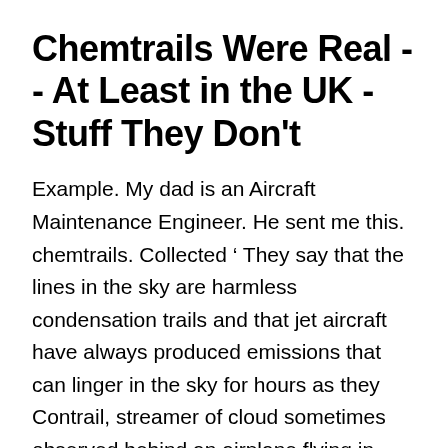Chemtrails Were Real -- At Least in the UK - Stuff They Don't
Example. My dad is an Aircraft Maintenance Engineer. He sent me this. chemtrails. Collected ‘ They say that the lines in the sky are harmless condensation trails and that jet aircraft have always produced emissions that can linger in the sky for hours as they  Contrail, streamer of cloud sometimes observed behind an airplane flying in clear cold humid air. It forms upon condensation of water vapor produced by the  Illuminated silhouette of airplane with ominous contrails. Download a Free Preview or High Quality Adobe Illustrator Ai, EPS, PDF and High Resolution JPEG  PDF | The most